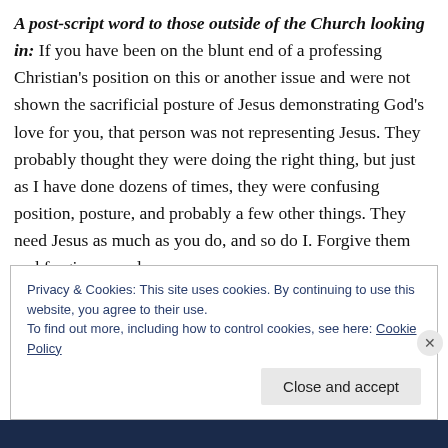A post-script word to those outside of the Church looking in: If you have been on the blunt end of a professing Christian's position on this or another issue and were not shown the sacrificial posture of Jesus demonstrating God's love for you, that person was not representing Jesus. They probably thought they were doing the right thing, but just as I have done dozens of times, they were confusing position, posture, and probably a few other things. They need Jesus as much as you do, and so do I. Forgive them and forgive me, please.
Privacy & Cookies: This site uses cookies. By continuing to use this website, you agree to their use. To find out more, including how to control cookies, see here: Cookie Policy